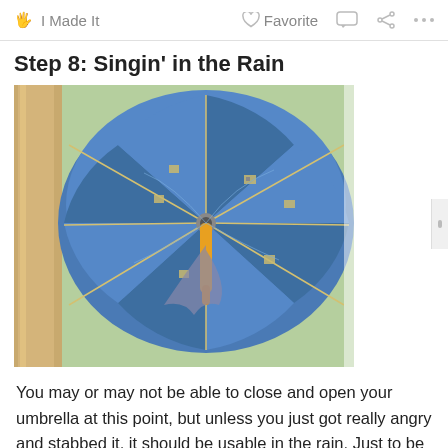I Made It   Favorite   ...
Step 8: Singin' in the Rain
[Figure (photo): A blue umbrella viewed from below, open and laid flat on a green surface. The umbrella has a yellow/orange handle and appears to have various small items or circuit components attached under its canopy and along its spokes. The umbrella's ribs and fabric are visible from beneath.]
You may or may not be able to close and open your umbrella at this point, but unless you just got really angry and stabbed it, it should be usable in the rain. Just to be safe, you should wipe off excess rain before closing and storing it so that water doesn't get into